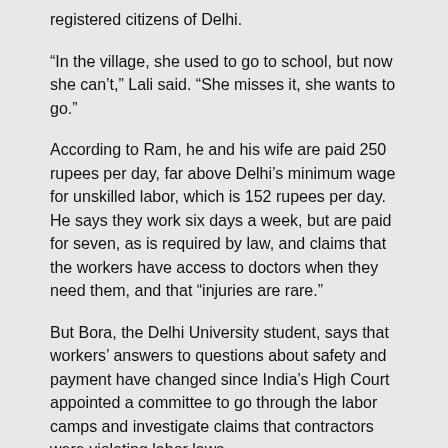registered citizens of Delhi.
“In the village, she used to go to school, but now she can’t,” Lali said. “She misses it, she wants to go.”
According to Ram, he and his wife are paid 250 rupees per day, far above Delhi’s minimum wage for unskilled labor, which is 152 rupees per day. He says they work six days a week, but are paid for seven, as is required by law, and claims that the workers have access to doctors when they need them, and that “injuries are rare.”
But Bora, the Delhi University student, says that workers’ answers to questions about safety and payment have changed since India’s High Court appointed a committee to go through the labor camps and investigate claims that contractors were violating labor laws.
“It’s as if they’ve memorized everything,” he said. “Before the committee came through, they told the truth about what they were being paid, and the doctors. This, this is